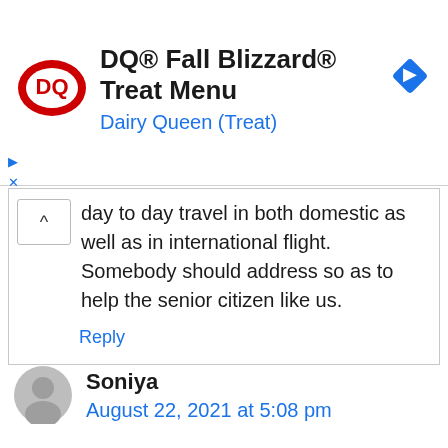[Figure (logo): Dairy Queen DQ logo in red and white oval]
DQ® Fall Blizzard® Treat Menu
Dairy Queen (Treat)
[Figure (other): Blue diamond navigation/directions icon]
day to day travel in both domestic as well as in international flight. Somebody should address so as to help the senior citizen like us.
Reply
[Figure (other): Grey circular user avatar icon]
Soniya
August 22, 2021 at 5:08 pm